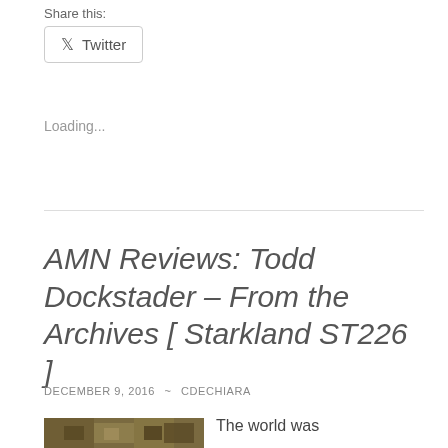Share this:
Twitter
Loading...
AMN Reviews: Todd Dockstader – From the Archives [ Starkland ST226 ]
DECEMBER 9, 2016 ~ CDECHIARA
[Figure (photo): Album cover or related image with dark golden/earthy tones]
The world was reintroduced to outsider